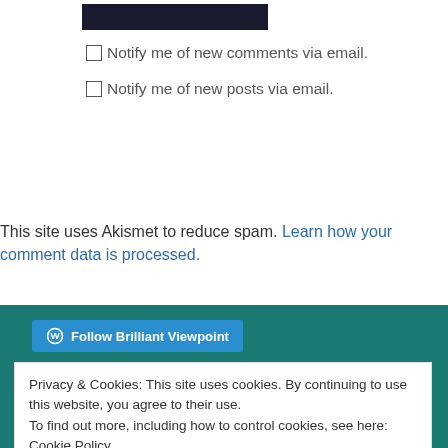[Figure (other): Dark submit button at top of page]
Notify me of new comments via email.
Notify me of new posts via email.
This site uses Akismet to reduce spam. Learn how your comment data is processed.
[Figure (other): Follow Brilliant Viewpoint button on teal background]
Privacy & Cookies: This site uses cookies. By continuing to use this website, you agree to their use.
To find out more, including how to control cookies, see here: Cookie Policy
Close and accept